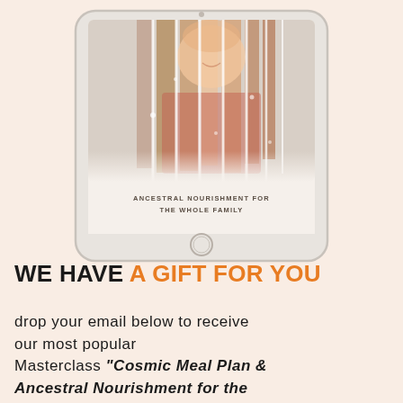[Figure (illustration): An iPad tablet device displaying a collage of a smiling toddler in a pink/red outfit, with vertical strip photo segments. Text on screen reads 'ANCESTRAL NOURISHMENT FOR THE WHOLE FAMILY']
WE HAVE A GIFT FOR YOU
drop your email below to receive our most popular Masterclass "Cosmic Meal Plan & Ancestral Nourishment for the